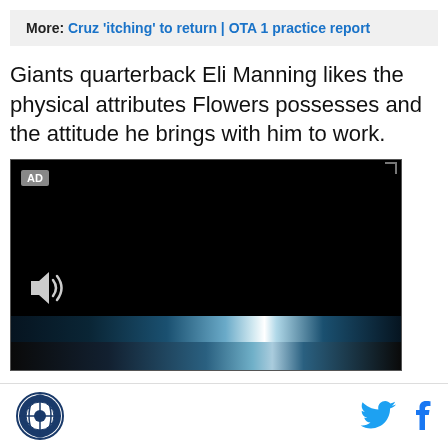More: Cruz 'itching' to return | OTA 1 practice report
Giants quarterback Eli Manning likes the physical attributes Flowers possesses and the attitude he brings with him to work.
[Figure (screenshot): Embedded video player with AD label, black background, volume icon, and blue light streak at the bottom.]
Footer with site logo and social media icons (Twitter, Facebook)